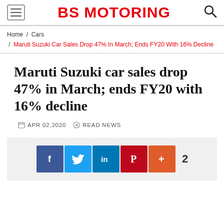BS MOTORING
Home / Cars / Maruti Suzuki Car Sales Drop 47% In March; Ends FY20 With 16% Decline
Maruti Suzuki car sales drop 47% in March; ends FY20 with 16% decline
APR 02,2020   READ NEWS
[Figure (infographic): Social share buttons: Facebook, Twitter, LinkedIn, Pinterest, More (+), share count: 2]